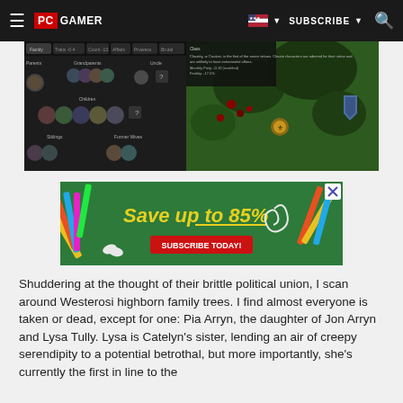PC GAMER | SUBSCRIBE
[Figure (screenshot): PC Gamer website header with navigation bar containing hamburger menu, PC GAMER logo, US flag dropdown, SUBSCRIBE button, and search icon]
[Figure (screenshot): Game screenshot showing a medieval strategy game UI with family tree/genealogy panel on left showing character portraits labeled Family, Grandparent, Uncle, Children, Siblings, Former Wives, and a green landscape map view on the right]
[Figure (infographic): Advertisement banner with green chalkboard background showing school supplies (pencils, scissors) with text 'Save up to 85%' in yellow handwriting style font and 'SUBSCRIBE TODAY!' button in red, with X close button]
Shuddering at the thought of their brittle political union, I scan around Westerosi highborn family trees. I find almost everyone is taken or dead, except for one: Pia Arryn, the daughter of Jon Arryn and Lysa Tully. Lysa is Catelyn's sister, lending an air of creepy serendipity to a potential betrothal, but more importantly, she's currently the first in line to the